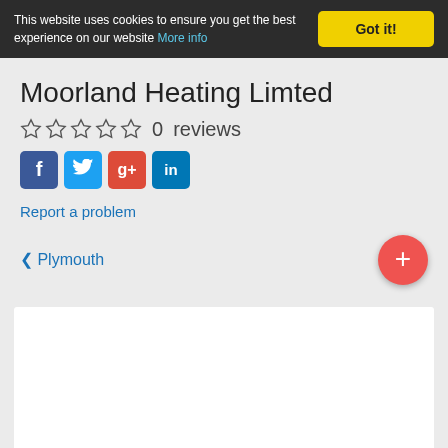This website uses cookies to ensure you get the best experience on our website More info
Got it!
Moorland Heating Limted
☆ ☆ ☆ ☆ ☆   0   reviews
[Figure (other): Social media icon buttons: Facebook (f), Twitter (bird), Google+ (g+), LinkedIn (in)]
Report a problem
< Plymouth
[Figure (other): Red circular button with + symbol]